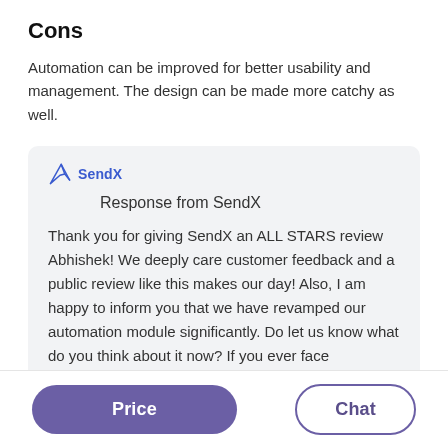Cons
Automation can be improved for better usability and management. The design can be made more catchy as well.
Response from SendX

Thank you for giving SendX an ALL STARS review Abhishek! We deeply care customer feedback and a public review like this makes our day! Also, I am happy to inform you that we have revamped our automation module significantly. Do let us know what do you think about it now? If you ever face
Price
Chat